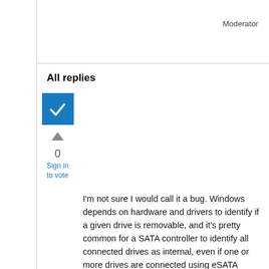Moderator
All replies
0
Sign in to vote
I'm not sure I would call it a bug. Windows depends on hardware and drivers to identify if a given drive is removable, and it's pretty common for a SATA controller to identify all connected drives as internal, even if one or more drives are connected using eSATA (which isn't the case here; your drive actually is internal). Internal